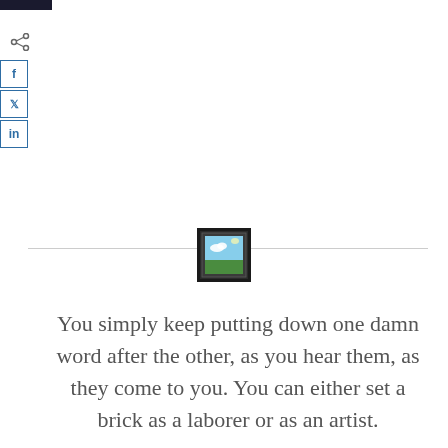[Figure (screenshot): Small thumbnail image showing a landscape/sky scene, framed in a black square icon, centered on a horizontal divider line]
You simply keep putting down one damn word after the other, as you hear them, as they come to you. You can either set a brick as a laborer or as an artist.